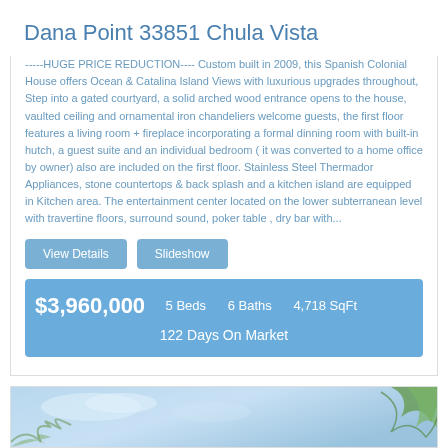Dana Point 33851 Chula Vista
-----HUGE PRICE REDUCTION---- Custom built in 2009, this Spanish Colonial House offers Ocean & Catalina Island Views with luxurious upgrades throughout, Step into a gated courtyard, a solid arched wood entrance opens to the house, vaulted ceiling and ornamental iron chandeliers welcome guests, the first floor features a living room + fireplace incorporating a formal dinning room with built-in hutch, a guest suite and an individual bedroom ( it was converted to a home office by owner) also are included on the first floor. Stainless Steel Thermador Appliances, stone countertops & back splash and a kitchen island are equipped in Kitchen area. The entertainment center located on the lower subterranean level with travertine floors, surround sound, poker table , dry bar with...
View Details | Slideshow
$3,960,000   5 Beds   6 Baths   4,718 SqFt   122 Days On Market
[Figure (photo): Outdoor photo with blue sky and green foliage]